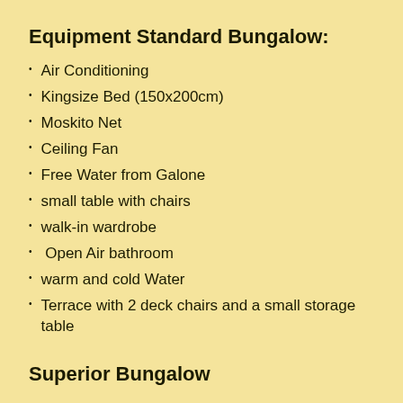Equipment Standard Bungalow:
Air Conditioning
Kingsize Bed (150x200cm)
Moskito Net
Ceiling Fan
Free Water from Galone
small table with chairs
walk-in wardrobe
Open Air bathroom
warm and cold Water
Terrace with 2 deck chairs and a small storage table
Superior Bungalow